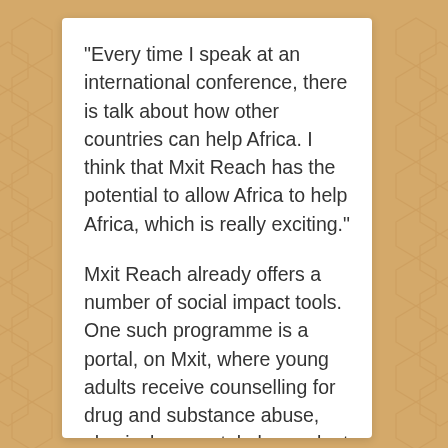“Every time I speak at an international conference, there is talk about how other countries can help Africa. I think that Mxit Reach has the potential to allow Africa to help Africa, which is really exciting.”
Mxit Reach already offers a number of social impact tools. One such programme is a portal, on Mxit, where young adults receive counselling for drug and substance abuse, physical or mental abuse, dept management, depression and general counselling. This platform was built and managed by Marlon